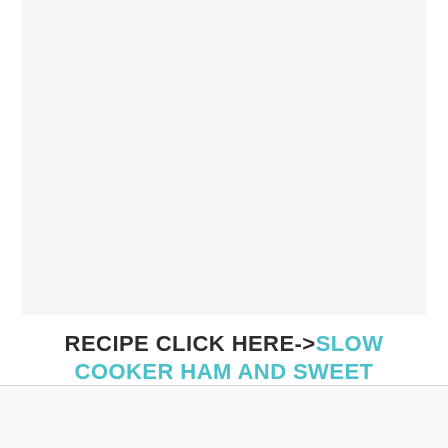[Figure (photo): Large image area showing a recipe photo (appears blank/light in this rendering)]
RECIPE CLICK HERE->SLOW COOKER HAM AND SWEET POTATOES!